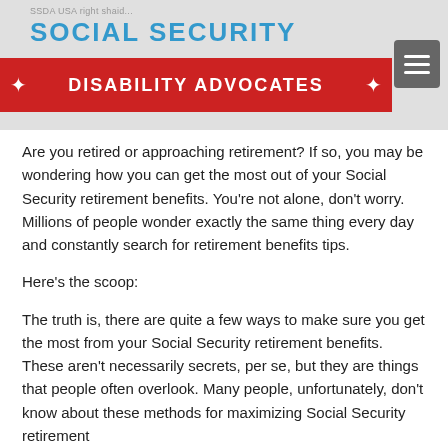SSDA USA right shaid... | SOCIAL SECURITY DISABILITY ADVOCATES
Are you retired or approaching retirement? If so, you may be wondering how you can get the most out of your Social Security retirement benefits. You're not alone, don't worry. Millions of people wonder exactly the same thing every day and constantly search for retirement benefits tips.
Here's the scoop:
The truth is, there are quite a few ways to make sure you get the most from your Social Security retirement benefits. These aren't necessarily secrets, per se, but they are things that people often overlook. Many people, unfortunately, don't know about these methods for maximizing Social Security retirement